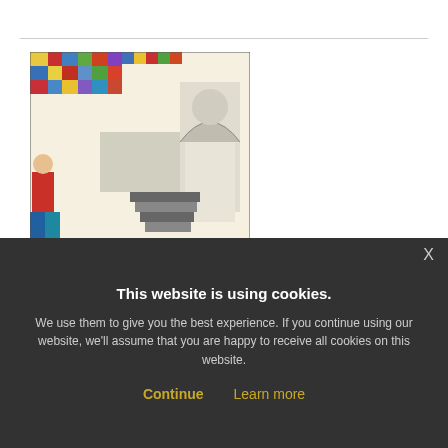[Figure (illustration): Colorful mosaic artwork depicting an interior scene with a checkered black and white floor, arched doorway, and figure on the left. Art Nouveau/Vienna Secession style.]
In Search of the "Total Artwork" Viennese Art and Design 1897–1932
April 08, 2003 — June 14, 2003
This website is using cookies. We use them to give you the best experience. If you continue using our website, we'll assume that you are happy to receive all cookies on this website.